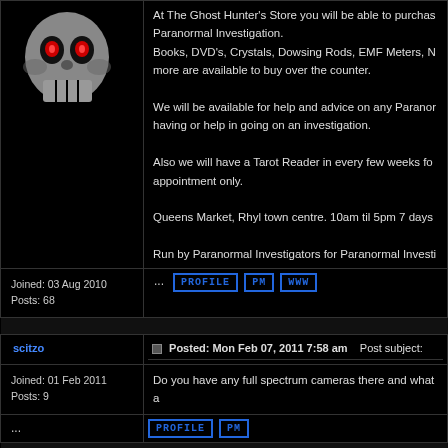[Figure (photo): Skull with glowing red eyes on black background — forum avatar]
Joined: 03 Aug 2010
Posts: 68
At The Ghost Hunter's Store you will be able to purchase Paranormal Investigation.
Books, DVD's, Crystals, Dowsing Rods, EMF Meters, N more are available to buy over the counter.

We will be available for help and advice on any Paranor having or help in going on an investigation.

Also we will have a Tarot Reader in every few weeks fo appointment only.

Queens Market, Rhyl town centre. 10am til 5pm 7 days

Run by Paranormal Investigators for Paranormal Investi
... PROFILE PM WWW
scitzo
Joined: 01 Feb 2011
Posts: 9
Posted: Mon Feb 07, 2011 7:58 am   Post subject:
Do you have any full spectrum cameras there and what a
... PROFILE PM
thecactus
Joined: 07 Mar 2011
Posted: Thu Mar 17, 2011 12:35 pm   Post subject:
all you need are normal cameras